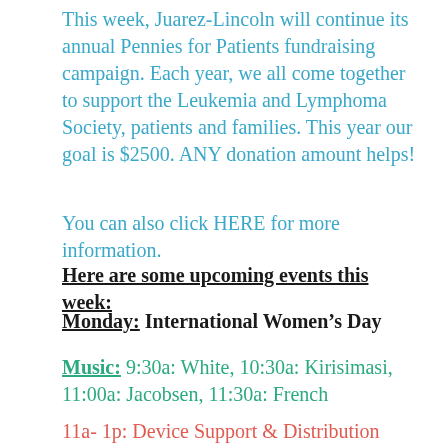This week, Juarez-Lincoln will continue its annual Pennies for Patients fundraising campaign.  Each year, we all come together to support the Leukemia and Lymphoma Society, patients and families. This year our goal is $2500.  ANY donation amount helps!
You can also click HERE for more information.
Here are some upcoming events this week:
Monday: International Women's Day
Music: 9:30a: White, 10:30a: Kirisimasi, 11:00a: Jacobsen, 11:30a: French
11a- 1p: Device Support & Distribution